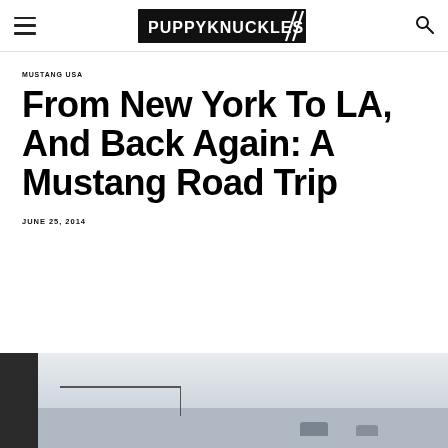PUPPYKNUCKLES
MUSTANG USA
From New York To LA, And Back Again: A Mustang Road Trip
JUNE 25, 2014
[Figure (photo): Partial photo of road/outdoor scene with dark left panel, light sky, and silhouettes of vehicles and structures in the background. The bottom portion of the photo is visible at the bottom of the page.]